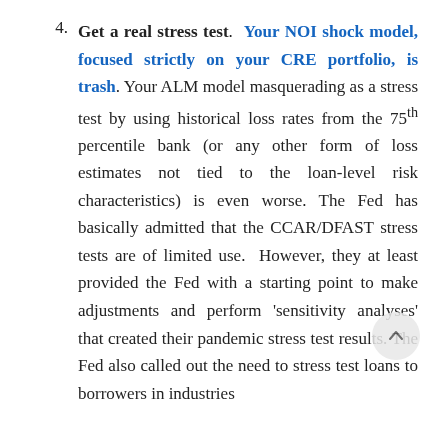4. Get a real stress test. Your NOI shock model, focused strictly on your CRE portfolio, is trash. Your ALM model masquerading as a stress test by using historical loss rates from the 75th percentile bank (or any other form of loss estimates not tied to the loan-level risk characteristics) is even worse. The Fed has basically admitted that the CCAR/DFAST stress tests are of limited use.  However, they at least provided the Fed with a starting point to make adjustments and perform ‘sensitivity analyses’ that created their pandemic stress test results. The Fed also called out the need to stress test loans to borrowers in industries